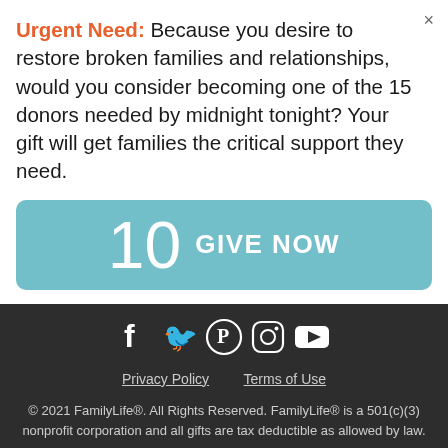Urgent Need: Because you desire to restore broken families and relationships, would you consider becoming one of the 15 donors needed by midnight tonight? Your gift will get families the critical support they need.
10  GIVE NOW
[Figure (illustration): Social media icons: Facebook, Twitter, Pinterest, Instagram, YouTube]
Privacy Policy    Terms of Use
© 2021 FamilyLife®. All Rights Reserved. FamilyLife® is a 501(c)(3) nonprofit corporation and all gifts are tax deductible as allowed by law.
Tax ID: 20-5340940
100 Lake Hart Dr, Orlando, FL 32832 | 1-800-358-6329